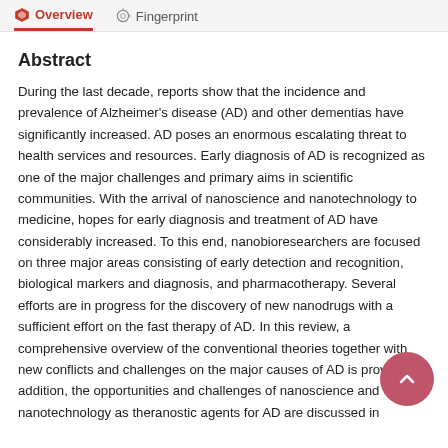Overview   Fingerprint
Abstract
During the last decade, reports show that the incidence and prevalence of Alzheimer's disease (AD) and other dementias have significantly increased. AD poses an enormous escalating threat to health services and resources. Early diagnosis of AD is recognized as one of the major challenges and primary aims in scientific communities. With the arrival of nanoscience and nanotechnology to medicine, hopes for early diagnosis and treatment of AD have considerably increased. To this end, nanobioresearchers are focused on three major areas consisting of early detection and recognition, biological markers and diagnosis, and pharmacotherapy. Several efforts are in progress for the discovery of new nanodrugs with a sufficient effort on the fast therapy of AD. In this review, a comprehensive overview of the conventional theories together with new conflicts and challenges on the major causes of AD is provided. In addition, the opportunities and challenges of nanoscience and nanotechnology as theranostic agents for AD are discussed in